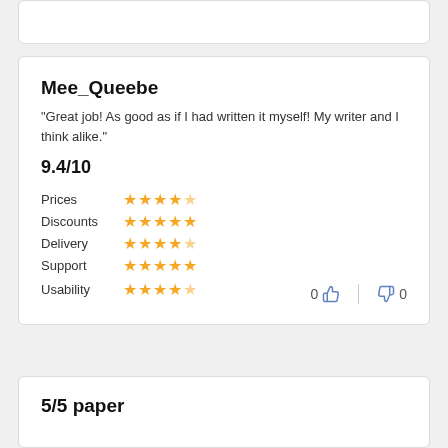Mee_Queebe
"Great job! As good as if I had written it myself! My writer and I think alike."
9.4/10
Prices ★★★★☆
Discounts ★★★★★
Delivery ★★★★☆
Support ★★★★★
Usability ★★★★☆
0 👍 | 👎 0
5/5 paper